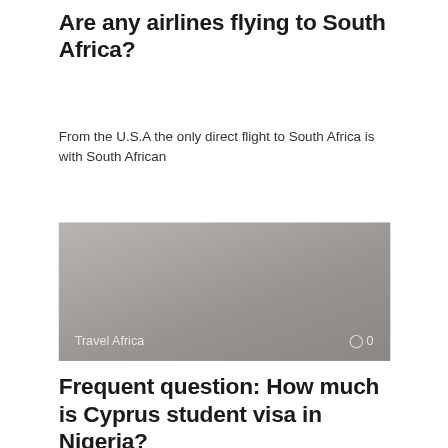Are any airlines flying to South Africa?
From the U.S.A the only direct flight to South Africa is with South African
[Figure (photo): Gray placeholder image with 'Travel Africa' label and comment count '0' in bottom corners]
Frequent question: How much is Cyprus student visa in Nigeria?
How much is Cyprus visa fee in Naira? Standard visa fee for student visa
[Figure (photo): Gray placeholder image at bottom of page, partially visible]